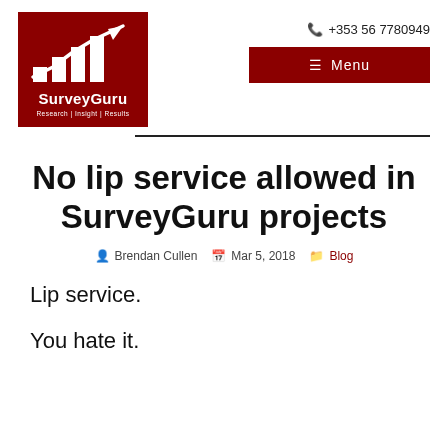[Figure (logo): SurveyGuru logo: dark red background with bar chart and upward arrow graphic, white text reading 'SurveyGuru' and 'Research | Insight | Results']
☎ +353 56 7780949
≡ Menu
No lip service allowed in SurveyGuru projects
Brendan Cullen   Mar 5, 2018   Blog
Lip service.
You hate it.